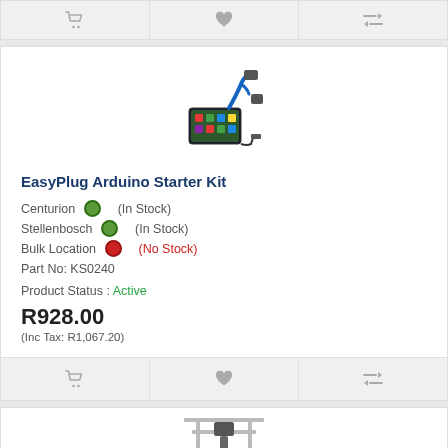[Figure (infographic): Top action bar with cart, heart/wishlist, and compare icons on grey background]
[Figure (photo): EasyPlug Arduino Starter Kit product image showing colorful circuit board with blue robotic arm components]
EasyPlug Arduino Starter Kit
Centurion (In Stock)
Stellenbosch (In Stock)
Bulk Location (No Stock)
Part No: KS0240
Product Status : Active
R928.00
(Inc Tax: R1,067.20)
[Figure (infographic): Bottom action bar with cart, heart/wishlist, and compare icons on grey background]
[Figure (photo): Partial view of a CNC machine or 3D printer product image at the bottom of the page]